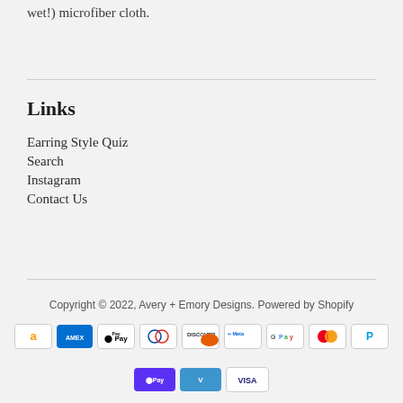wet!) microfiber cloth.
Links
Earring Style Quiz
Search
Instagram
Contact Us
Copyright © 2022, Avery + Emory Designs. Powered by Shopify
[Figure (logo): Payment method icons: Amazon, American Express, Apple Pay, Diners Club, Discover, Meta Pay, Google Pay, Mastercard, PayPal, Shop Pay, Venmo, Visa]